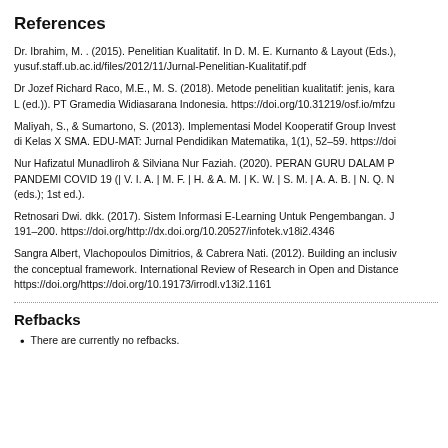References
Dr. Ibrahim, M. . (2015). Penelitian Kualitatif. In D. M. E. Kurnanto & Layout (Eds.), yusuf.staff.ub.ac.id/files/2012/11/Jurnal-Penelitian-Kualitatif.pdf
Dr Jozef Richard Raco, M.E., M. S. (2018). Metode penelitian kualitatif: jenis, kara L (ed.)). PT Gramedia Widiasarana Indonesia. https://doi.org/10.31219/osf.io/mfzu
Maliyah, S., & Sumartono, S. (2013). Implementasi Model Kooperatif Group Invest di Kelas X SMA. EDU-MAT: Jurnal Pendidikan Matematika, 1(1), 52–59. https://doi
Nur Hafizatul Munadliroh & Silviana Nur Faziah. (2020). PERAN GURU DALAM P PANDEMI COVID 19 (| V. I. A. | M. F. | H. & A. M. | K. W. | S. M. | A. A. B. | N. Q. N (eds.); 1st ed.).
Retnosari Dwi. dkk. (2017). Sistem Informasi E-Learning Untuk Pengembangan. J 191–200. https://doi.org/http://dx.doi.org/10.20527/infotek.v18i2.4346
Sangra Albert, Vlachopoulos Dimitrios, & Cabrera Nati. (2012). Building an inclusiv the conceptual framework. International Review of Research in Open and Distance https://doi.org/https://doi.org/10.19173/irrodl.v13i2.1161
Refbacks
There are currently no refbacks.